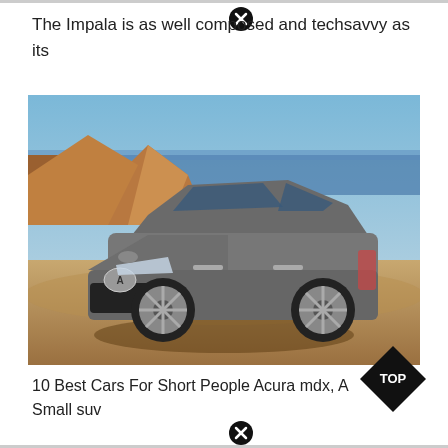The Impala is as well composed and techsavvy as its
[Figure (photo): A gray Acura MDX SUV parked in a desert landscape with red rock formations and blue water/sky in the background]
10 Best Cars For Short People Acura mdx, A Small suv